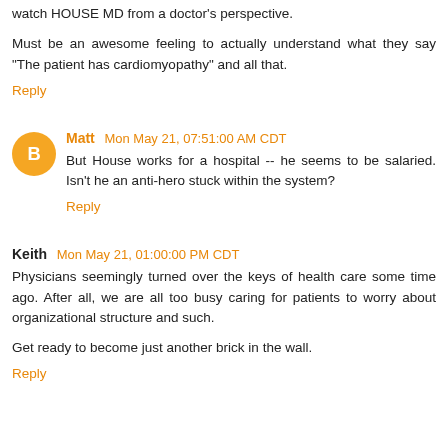watch HOUSE MD from a doctor's perspective.
Must be an awesome feeling to actually understand what they say "The patient has cardiomyopathy" and all that.
Reply
Matt Mon May 21, 07:51:00 AM CDT
But House works for a hospital -- he seems to be salaried. Isn't he an anti-hero stuck within the system?
Reply
Keith Mon May 21, 01:00:00 PM CDT
Physicians seemingly turned over the keys of health care some time ago. After all, we are all too busy caring for patients to worry about organizational structure and such.
Get ready to become just another brick in the wall.
Reply